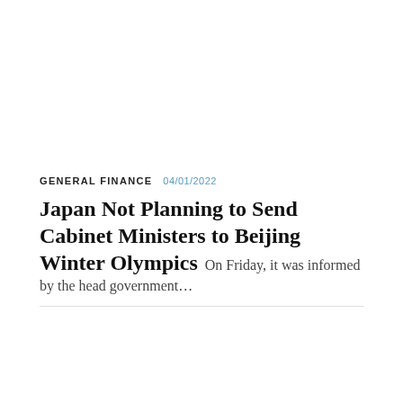GENERAL FINANCE   04/01/2022
Japan Not Planning to Send Cabinet Ministers to Beijing Winter Olympics  On Friday, it was informed by the head government...